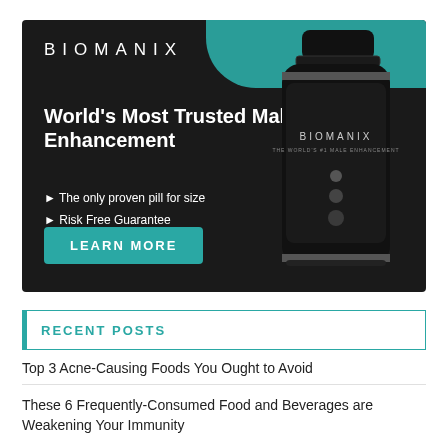[Figure (illustration): Biomanix male enhancement supplement advertisement banner. Dark background with teal accent bar. Shows 'BIOMANIX' brand name, headline 'World's Most Trusted Male Enhancement', bullet points listing product benefits, a teal 'LEARN MORE' button, and a product bottle image on the right side.]
RECENT POSTS
Top 3 Acne-Causing Foods You Ought to Avoid
These 6 Frequently-Consumed Food and Beverages are Weakening Your Immunity